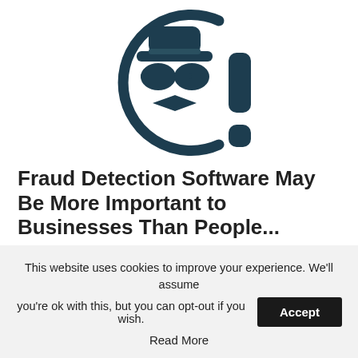[Figure (illustration): A dark teal circular icon showing a spy/detective figure with a hat, sunglasses, and bowtie, with an exclamation mark (!) to the right — used to represent fraud detection.]
Fraud Detection Software May Be More Important to Businesses Than People...
Fraud Detection Software | Sponsored
This website uses cookies to improve your experience. We'll assume you're ok with this, but you can opt-out if you wish. Accept Read More